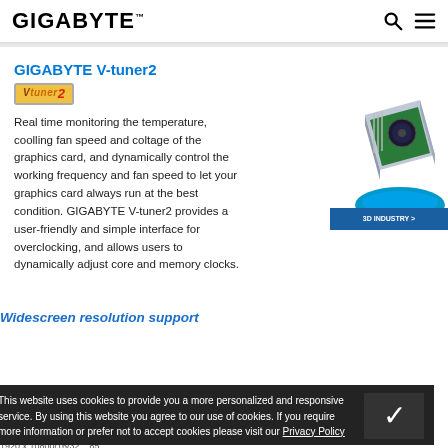GIGABYTE
GIGABYTE V-tuner2
[Figure (logo): V-tuner2 logo badge in orange/gold stylized text]
Real time monitoring the temperature, coolling fan speed and coltage of the graphics card, and dynamically control the working frequency and fan speed to let your graphics card always run at the best condition. GIGABYTE V-tuner2 provides a user-friendly and simple interface for overclocking, and allows users to dynamically adjust core and memory clocks.
[Figure (illustration): 3D isometric illustration of a graphics card / industrial device with blue accent base and '3D INDUSTRY >' banner]
Widescreen resolution support
This website uses cookies to provide you a more personalized and responsive service. By using this website you agree to our use of cookies. If you require more information or prefer not to accept cookies please visit our Privacy Policy
1920 x 10800/16/32    85